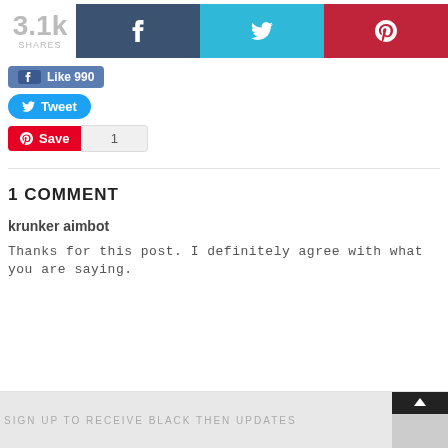[Figure (screenshot): Social share bar with 3.1k shares, Facebook, Twitter, and Pinterest buttons]
[Figure (screenshot): Facebook Like 990 button]
[Figure (screenshot): Twitter Tweet button]
[Figure (screenshot): Pinterest Save button with count 1]
1 COMMENT
krunker aimbot
Thanks for this post. I definitely agree with what you are saying.
SIGN UP TO RECEIVE BLACK THEN UPDATES